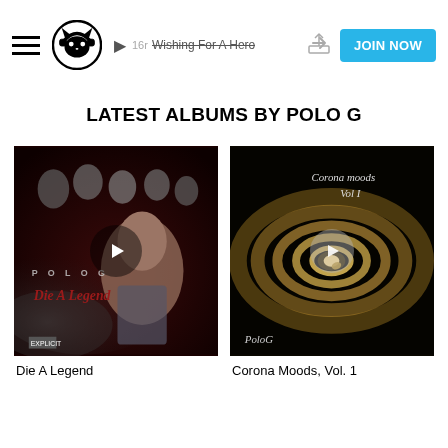Napster — Wishing For A Hero | JOIN NOW
LATEST ALBUMS BY POLO G
[Figure (photo): Album art for 'Die A Legend' by Polo G — dark red toned cover with young man in foreground, group photo montage in background, text 'POLO G Die A Legend' overlaid, play button in center]
Die A Legend
[Figure (photo): Album art for 'Corona Moods, Vol. 1' by Polo G — dark swirling abstract gold/brown/black spiral background with text 'Corona moods Vol I' top right and 'PoloG' bottom left, play button overlay]
Corona Moods, Vol. 1